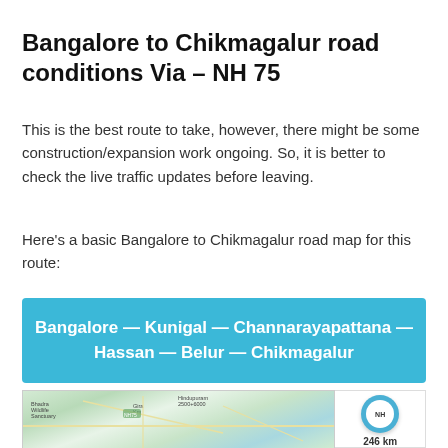Bangalore to Chikmagalur road conditions Via – NH 75
This is the best route to take, however, there might be some construction/expansion work ongoing. So, it is better to check the live traffic updates before leaving.
Here's a basic Bangalore to Chikmagalur road map for this route:
Bangalore — Kunigal — Channarayapattana — Hassan — Belur — Chikmagalur
[Figure (map): Map showing route from Bangalore to Chikmagalur via NH 75, with a badge showing 246 km distance]